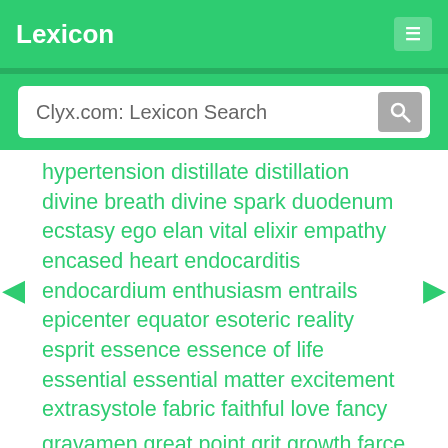Lexicon
Clyx.com: Lexicon Search
hypertension distillate distillation divine breath divine spark duodenum ecstasy ego elan vital elixir empathy encased heart endocarditis endocardium enthusiasm entrails epicenter equator esoteric reality esprit essence essence of life essential essential matter excitement extrasystole fabric faithful love fancy fatty heart feelings fervency fervidness fervor fibroid heart fire flame flask-shaped heart flower focal point focus fondness football force of life foregut frame frame of mind free love free-lovism frosted heart fundamental fundamentals furor fury generosity giblets gist gizzard goodness gravamen great point grit growth farce gusto